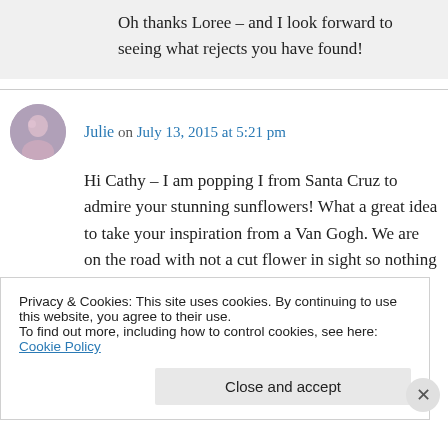Oh thanks Loree – and I look forward to seeing what rejects you have found!
Julie on July 13, 2015 at 5:21 pm
Hi Cathy – I am popping I from Santa Cruz to admire your stunning sunflowers! What a great idea to take your inspiration from a Van Gogh. We are on the road with not a cut flower in sight so nothing from me again this week – perhaps there will be more inspiration in Vegas next
Privacy & Cookies: This site uses cookies. By continuing to use this website, you agree to their use. To find out more, including how to control cookies, see here: Cookie Policy
Close and accept